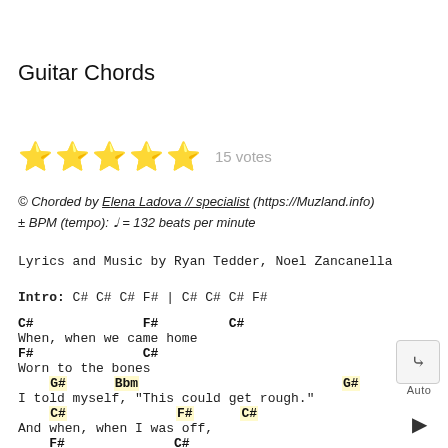Guitar Chords
[Figure (other): Five gold star rating with 15 votes label]
© Chorded by Elena Ladova // specialist (https://Muzland.info)
± BPM (tempo): ♩ = 132 beats per minute
Lyrics and Music by Ryan Tedder, Noel Zancanella
Intro: C# C# C# F# | C# C# C# F#
C#              F#         C#
When, when we came home
F#              C#
Worn to the bones
    G#      Bbm                          G#
I told myself, "This could get rough."
    C#              F#      C#
And when, when I was off,
    F#              C#